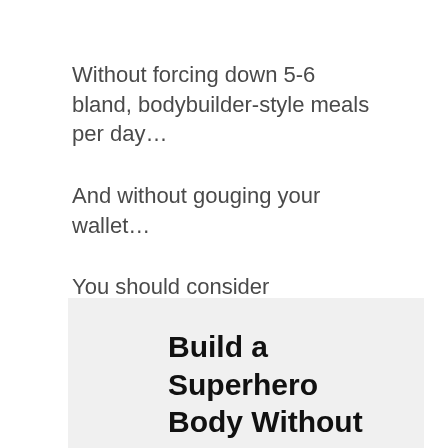Without forcing down 5-6 bland, bodybuilder-style meals per day…
And without gouging your wallet…
You should consider Superhero X12 by Fit Mole.
Build a Superhero Body Without Training Like One
Getting in shape isn't easy. But this program gives you a real-life approach to building a leaner, more